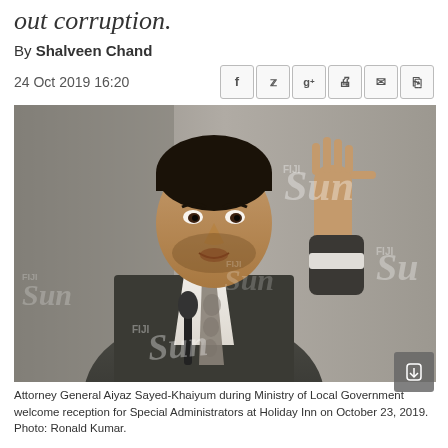out corruption.
By Shalveen Chand
24 Oct 2019 16:20
[Figure (photo): Attorney General Aiyaz Sayed-Khaiyum in a suit and tie, raising his right hand, speaking at a podium. Fiji Sun watermarks visible across the image. Background is grey/neutral. Photo by Ronald Kumar.]
Attorney General Aiyaz Sayed-Khaiyum during Ministry of Local Government welcome reception for Special Administrators at Holiday Inn on October 23, 2019. Photo: Ronald Kumar.
Attorney-General and Minister for Economy